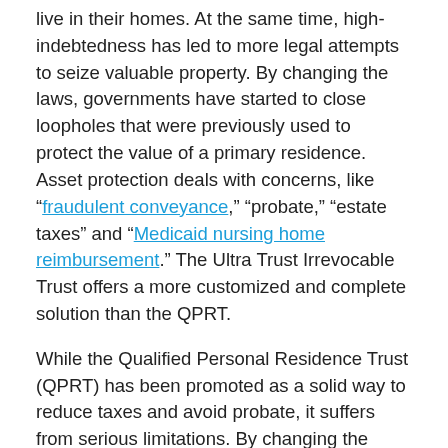live in their homes. At the same time, high-indebtedness has led to more legal attempts to seize valuable property. By changing the laws, governments have started to close loopholes that were previously used to protect the value of a primary residence. Asset protection deals with concerns, like "fraudulent conveyance," "probate," "estate taxes" and "Medicaid nursing home reimbursement." The Ultra Trust Irrevocable Trust offers a more customized and complete solution than the QPRT.
While the Qualified Personal Residence Trust (QPRT) has been promoted as a solid way to reduce taxes and avoid probate, it suffers from serious limitations. By changing the ownership relationship between parent and child, the how can be sold without the parent's consent and the parent could be evicted by the children. Selling the...